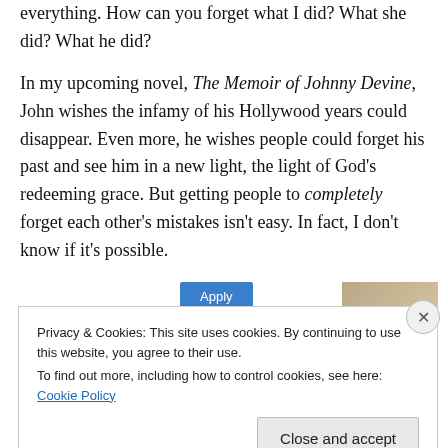everything. How can you forget what I did? What she did? What he did?
In my upcoming novel, The Memoir of Johnny Devine, John wishes the infamy of his Hollywood years could disappear. Even more, he wishes people could forget his past and see him in a new light, the light of God's redeeming grace. But getting people to completely forget each other's mistakes isn't easy. In fact, I don't know if it's possible.
[Figure (screenshot): Partial view of an advertisement showing an Apply button (blue) and a partial image of a person]
Privacy & Cookies: This site uses cookies. By continuing to use this website, you agree to their use. To find out more, including how to control cookies, see here: Cookie Policy
Close and accept